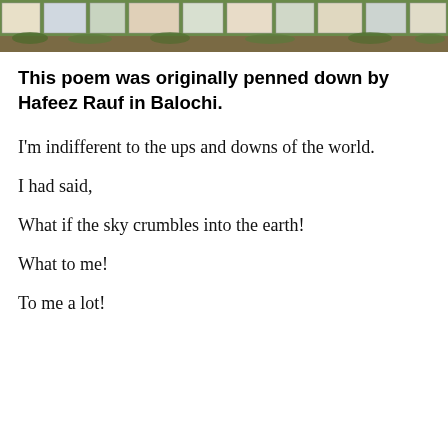[Figure (photo): A row of colorful signs or posters mounted along a wall or fence, with green grass visible at the bottom.]
This poem was originally penned down by Hafeez Rauf in Balochi.
I'm indifferent to the ups and downs of the world.
I had said,
What if the sky crumbles into the earth!
What to me!
To me a lot!